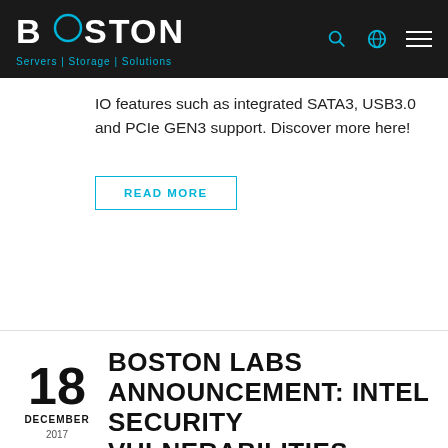BOSTON Servers | Storage | Solutions
IO features such as integrated SATA3, USB3.0 and PCIe GEN3 support. Discover more here!
READ MORE
BOSTON LABS ANNOUNCEMENT: INTEL SECURITY VULNERABILITIES REGARDING INTEL® MANAGEMENT ENGINE (ME)
18 DECEMBER 2017